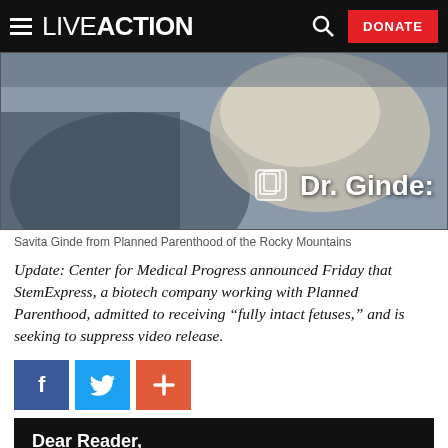LIVE ACTION | DONATE
[Figure (screenshot): Video screenshot showing a person in medical attire, with overlay text showing a document icon and 'Dr. Ginde:']
Savita Ginde from Planned Parenthood of the Rocky Mountains
Update: Center for Medical Progress announced Friday that StemExpress, a biotech company working with Planned Parenthood, admitted to receiving "fully intact fetuses," and is seeking to suppress video release.
[Figure (infographic): Social share buttons: Facebook (blue), Twitter (light blue), Plus/Share (orange-red)]
Dear Reader,